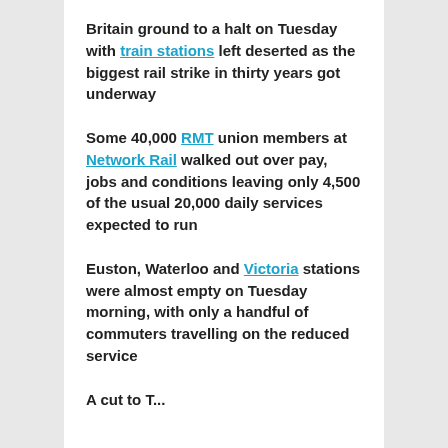Britain ground to a halt on Tuesday with train stations left deserted as the biggest rail strike in thirty years got underway
Some 40,000 RMT union members at Network Rail walked out over pay, jobs and conditions leaving only 4,500 of the usual 20,000 daily services expected to run
Euston, Waterloo and Victoria stations were almost empty on Tuesday morning, with only a handful of commuters travelling on the reduced service
A cut to Euston...